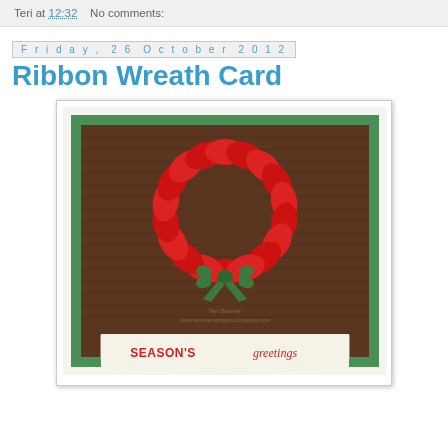Teri at 12:32   No comments:
Friday, 26 October 2012
Ribbon Wreath Card
[Figure (photo): A handmade Christmas card featuring a red ribbon wreath on a dark wood-grain background with green matting and a green bow, with a banner at the bottom reading SEASON'S greetings]